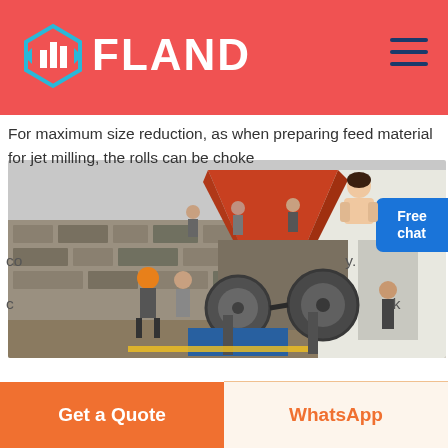FLAND
For maximum size reduction, as when preparing feed material for jet milling, the rolls can be choked...
co... y.
c... k
[Figure (photo): Industrial jaw crusher machine at an outdoor construction/mining site. Workers visible near the machine and atop a stone wall. Large orange hopper visible at top, heavy machinery with flywheels and motor in foreground.]
Free chat
Get a Quote
WhatsApp